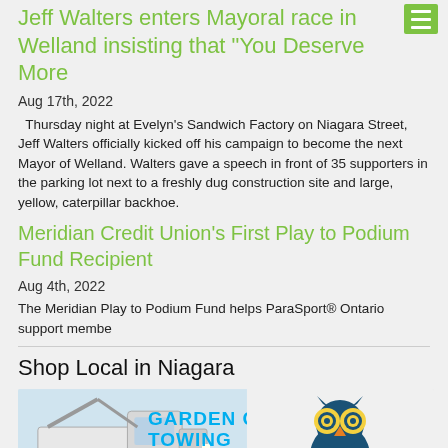Jeff Walters enters Mayoral race in Welland insisting that "You Deserve More
Aug 17th, 2022
Thursday night at Evelyn's Sandwich Factory on Niagara Street, Jeff Walters officially kicked off his campaign to become the next Mayor of Welland. Walters gave a speech in front of 35 supporters in the parking lot next to a freshly dug construction site and large, yellow, caterpillar backhoe.
Meridian Credit Union's First Play to Podium Fund Recipient
Aug 4th, 2022
The Meridian Play to Podium Fund helps ParaSport® Ontario support membe
Shop Local in Niagara
[Figure (photo): Advertisement image showing a tow truck with 'Garden City Towing' text and an owl logo on the right side]